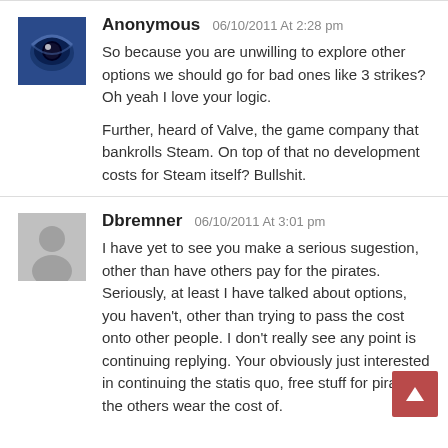Anonymous 06/10/2011 At 2:28 pm
So because you are unwilling to explore other options we should go for bad ones like 3 strikes? Oh yeah I love your logic.

Further, heard of Valve, the game company that bankrolls Steam. On top of that no development costs for Steam itself? Bullshit.
Dbremner 06/10/2011 At 3:01 pm
I have yet to see you make a serious sugestion, other than have others pay for the pirates. Seriously, at least I have talked about options, you haven't, other than trying to pass the cost onto other people. I don't really see any point is continuing replying. Your obviously just interested in continuing the statis quo, free stuff for pirates the others wear the cost of.